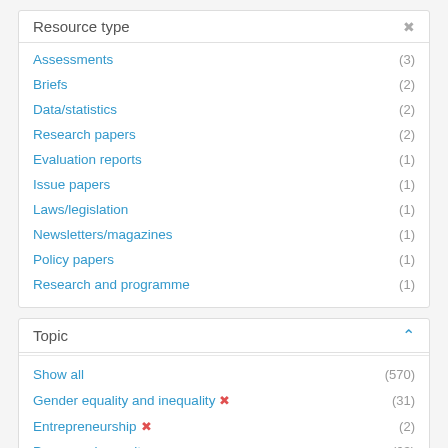Resource type
Assessments (3)
Briefs (2)
Data/statistics (2)
Research papers (2)
Evaluation reports (1)
Issue papers (1)
Laws/legislation (1)
Newsletters/magazines (1)
Policy papers (1)
Research and programme (1)
Topic
Show all (570)
Gender equality and inequality ✕ (31)
Entrepreneurship ✕ (2)
Peace and security (63)